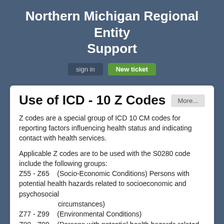Northern Michigan Regional Entity Support
sign in   New ticket
Use of ICD - 10 Z Codes
Z codes are a special group of ICD 10 CM codes for reporting factors influencing health status and indicating contact with health services.
Applicable Z codes are to be used with the S0280 code include the following groups:
Z55 - Z65    (Socio-Economic Conditions) Persons with potential health hazards related to socioeconomic and psychosocial
                    circumstances)
Z77 - Z99    (Environmental Conditions)
Z80 - Z99    (Persons with potential health hazards related to family and personal history and certain conditions influencing health status)